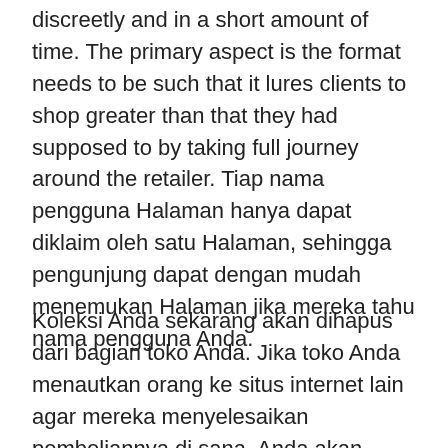discreetly and in a short amount of time. The primary aspect is the format needs to be such that it lures clients to shop greater than that they had supposed to by taking full journey around the retailer. Tiap nama pengguna Halaman hanya dapat diklaim oleh satu Halaman, sehingga pengunjung dapat dengan mudah menemukan Halaman jika mereka tahu nama pengguna Anda.
Koleksi Anda sekarang akan dihapus dari bagian toko Anda. Jika toko Anda menautkan orang ke situs internet lain agar mereka menyelesaikan pembeliannya di sana, Anda akan dibayar menurut metode pembayaran situs internet tersebut. Toko Anda dan semua produknya sekarang akan dihapus, tapi tab Toko masih akan dapat dilihat di